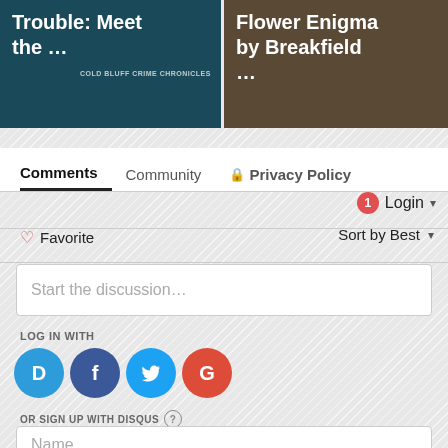[Figure (screenshot): Two book/article thumbnail images side by side. Left shows dark teal background with white bold text 'Trouble: Meet the ...' and subtitle 'COLD BLUFF CRIME CHRONICLES'. Right shows dark brown background with white bold text 'Flower Enigma by Breakfield ...']
Comments   Community   🔒 Privacy Policy
🔔1  Login ▾
♡ Favorite   Sort by Best ▾
Start the discussion...
LOG IN WITH
[Figure (logo): Four social login icons in circles: Disqus (blue D), Facebook (dark blue f), Twitter (light blue bird), Google (red G)]
OR SIGN UP WITH DISQUS ?
Name